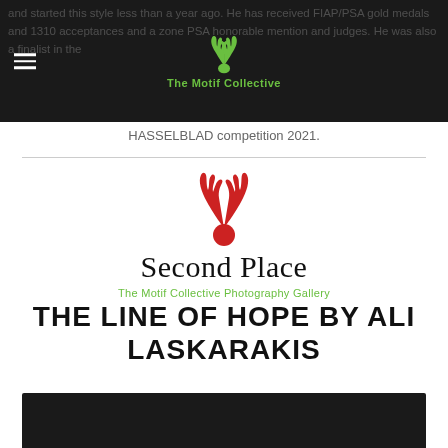The Motif Collective
and started this style less than a year ago. He has received FIAP/PSA gold medals and 1310 acceptances and a zone PSA honorable mention and judges. He was also a finalist in the HASSELBLAD competition 2021.
[Figure (logo): Red deer antler logo above 'Second Place' text and 'The Motif Collective Photography Gallery' subtitle]
THE LINE OF HOPE BY ALI LASKARAKIS
[Figure (photo): Dark/black photograph strip at bottom of page]